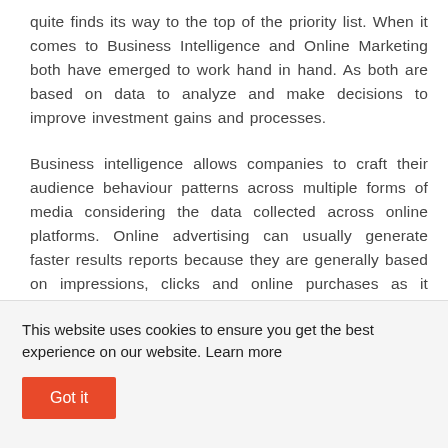quite finds its way to the top of the priority list. When it comes to Business Intelligence and Online Marketing both have emerged to work hand in hand. As both are based on data to analyze and make decisions to improve investment gains and processes.
Business intelligence allows companies to craft their audience behaviour patterns across multiple forms of media considering the data collected across online platforms. Online advertising can usually generate faster results reports because they are generally based on impressions, clicks and online purchases as it basically
This website uses cookies to ensure you get the best experience on our website. Learn more
Got it